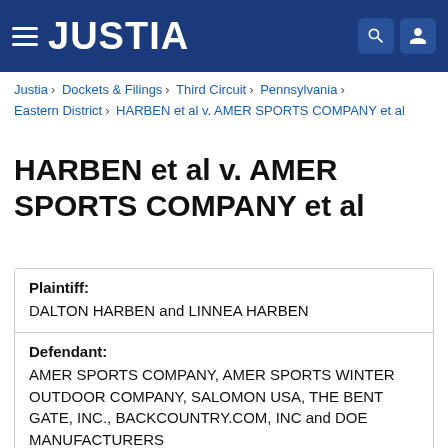JUSTIA
Justia › Dockets & Filings › Third Circuit › Pennsylvania › Eastern District › HARBEN et al v. AMER SPORTS COMPANY et al
HARBEN et al v. AMER SPORTS COMPANY et al
| Plaintiff: | DALTON HARBEN and LINNEA HARBEN |
| Defendant: | AMER SPORTS COMPANY, AMER SPORTS WINTER OUTDOOR COMPANY, SALOMON USA, THE BENT GATE, INC., BACKCOUNTRY.COM, INC and DOE MANUFACTURERS |
| Case Number: | 2:2019cv02284 |